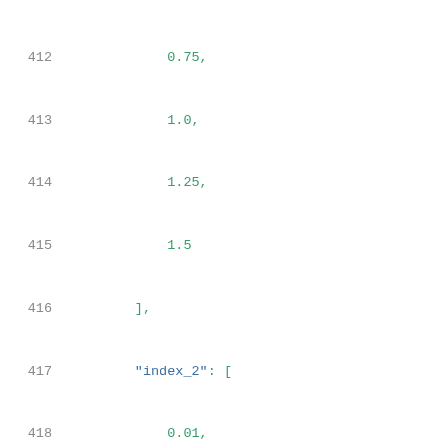412    0.75,
413    1.0,
414    1.25,
415    1.5
416    ],
417    "index_2": [
418    0.01,
419    0.03125,
420    0.0625,
421    0.125,
422    0.25,
423    0.5,
424    0.75,
425    1.0,
426    1.25,
427    1.5
428    ],
429    "values": [
430    [
431    -0.0194,
432    -0.01354,
433    ...